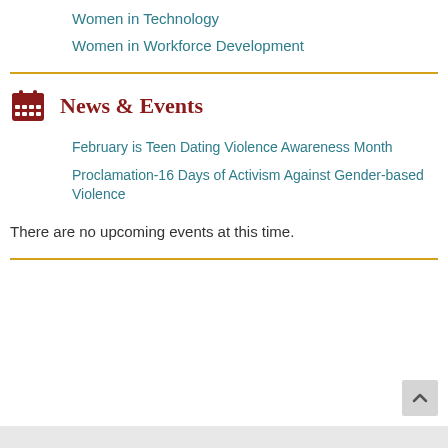Women in Technology
Women in Workforce Development
News & Events
February is Teen Dating Violence Awareness Month
Proclamation-16 Days of Activism Against Gender-based Violence
There are no upcoming events at this time.